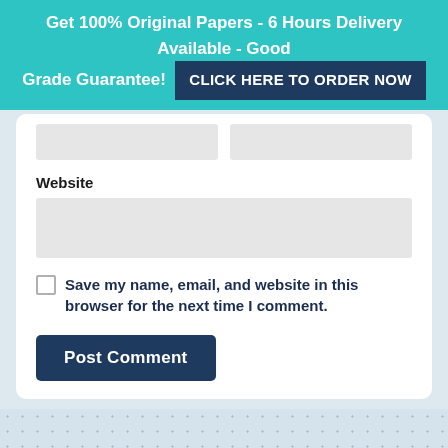Get 100% Original Papers - 6 Hours Delivery Available - Good Grade Guarantee! CLICK HERE TO ORDER NOW
Website
Save my name, email, and website in this browser for the next time I comment.
Post Comment
NEXT
How was the work initially received? Wh